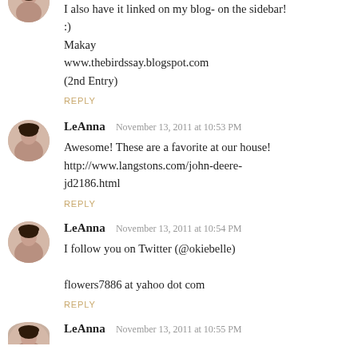I also have it linked on my blog- on the sidebar! :)
Makay
www.thebirdssay.blogspot.com
(2nd Entry)
REPLY
LeAnna  November 13, 2011 at 10:53 PM
Awesome! These are a favorite at our house!
http://www.langstons.com/john-deere-jd2186.html
REPLY
LeAnna  November 13, 2011 at 10:54 PM
I follow you on Twitter (@okiebelle)

flowers7886 at yahoo dot com
REPLY
LeAnna  November 13, 2011 at 10:55 PM